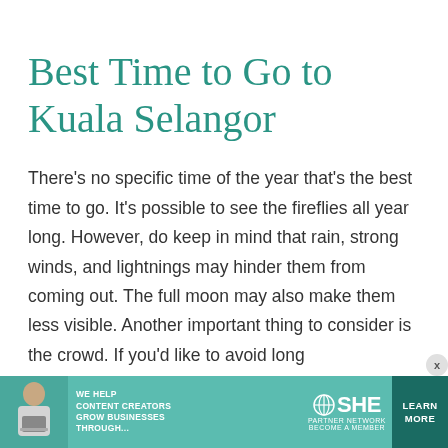Best Time to Go to Kuala Selangor
There’s no specific time of the year that’s the best time to go. It’s possible to see the fireflies all year long. However, do keep in mind that rain, strong winds, and lightnings may hinder them from coming out. The full moon may also make them less visible. Another important thing to consider is the crowd. If you’d like to avoid long
[Figure (infographic): Advertisement banner for SHE Media Partner Network. Shows a woman with a laptop, text reading 'WE HELP CONTENT CREATORS GROW BUSINESSES THROUGH...', SHE Media logo, and a 'LEARN MORE' call-to-action button.]